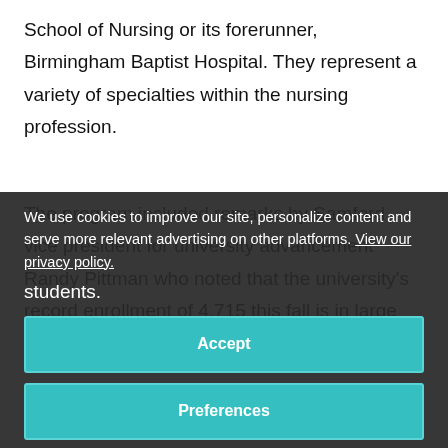School of Nursing or its forerunner, Birmingham Baptist Hospital. They represent a variety of specialties within the nursing profession.
The program included remarks by Samford vice president for university advancement Randy Pittman who noted that the university's record enrollment of 4,715 this fall is in large part to the
We use cookies to improve our site, personalize content and serve more relevant advertising on other platforms. View our privacy policy.
students.